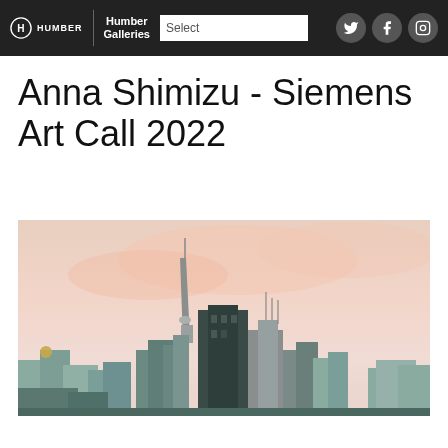HUMBER | Humber Galleries | Select [dropdown] [Twitter] [Facebook] [Instagram]
Anna Shimizu - Siemens Art Call 2022
[Figure (illustration): A painted cityscape showing the Toronto skyline at dusk/sunset with warm pink and peach tones in the sky. Buildings including the CN Tower are visible along with other downtown skyscrapers rendered in muted greens, blues and warm tones.]